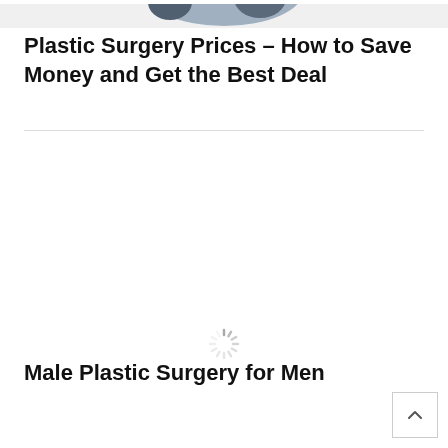[Figure (photo): Partial view of a person's face/head, cropped at top of page]
Plastic Surgery Prices – How to Save Money and Get the Best Deal
[Figure (other): Loading spinner icon (circular dashed spinner)]
Male Plastic Surgery for Men